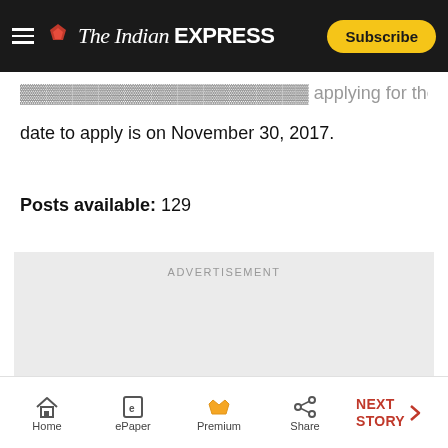The Indian Express — Subscribe
date to apply is on November 30, 2017.
Posts available: 129
[Figure (other): Advertisement placeholder box with label ADVERTISEMENT]
Home | ePaper | Premium | Share | NEXT STORY